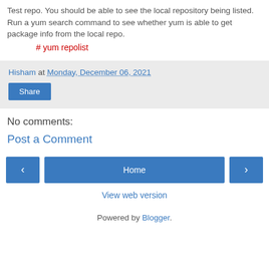Test repo. You should be able to see the local repository being listed. Run a yum search command to see whether yum is able to get package info from the local repo.
# yum repolist
Hisham at Monday, December 06, 2021
Share
No comments:
Post a Comment
‹  Home  ›
View web version
Powered by Blogger.